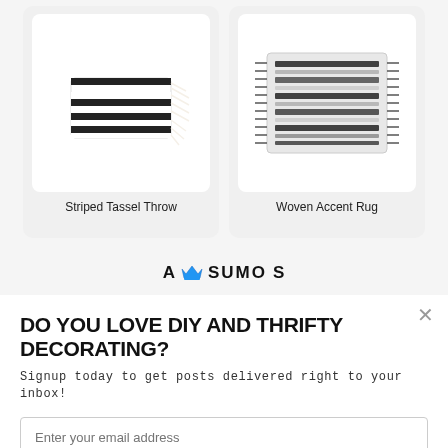[Figure (photo): Striped Tassel Throw product image — black and white striped throw blanket with fringe/tassels]
Striped Tassel Throw
[Figure (photo): Woven Accent Rug product image — gray and black woven accent rug]
Woven Accent Rug
[Figure (logo): SUMO logo with crown icon — 'A SUMO S' text with blue crown]
DO YOU LOVE DIY AND THRIFTY DECORATING?
Signup today to get posts delivered right to your inbox!
Enter your email address
Subscribe Now